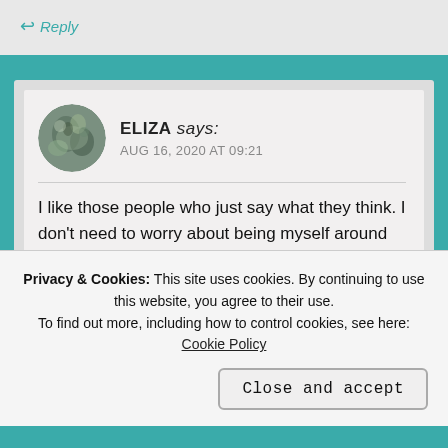Reply
ELIZA says: AUG 16, 2020 AT 09:21
I like those people who just say what they think. I don't need to worry about being myself around them.
Like
Privacy & Cookies: This site uses cookies. By continuing to use this website, you agree to their use. To find out more, including how to control cookies, see here: Cookie Policy
Close and accept